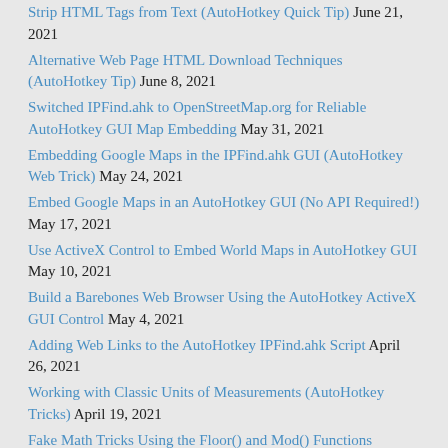Strip HTML Tags from Text (AutoHotkey Quick Tip) June 21, 2021
Alternative Web Page HTML Download Techniques (AutoHotkey Tip) June 8, 2021
Switched IPFind.ahk to OpenStreetMap.org for Reliable AutoHotkey GUI Map Embedding May 31, 2021
Embedding Google Maps in the IPFind.ahk GUI (AutoHotkey Web Trick) May 24, 2021
Embed Google Maps in an AutoHotkey GUI (No API Required!) May 17, 2021
Use ActiveX Control to Embed World Maps in AutoHotkey GUI May 10, 2021
Build a Barebones Web Browser Using the AutoHotkey ActiveX GUI Control May 4, 2021
Adding Web Links to the AutoHotkey IPFind.ahk Script April 26, 2021
Working with Classic Units of Measurements (AutoHotkey Tricks) April 19, 2021
Fake Math Tricks Using the Floor() and Mod() Functions (AutoHotkey Tips) April 12, 2021